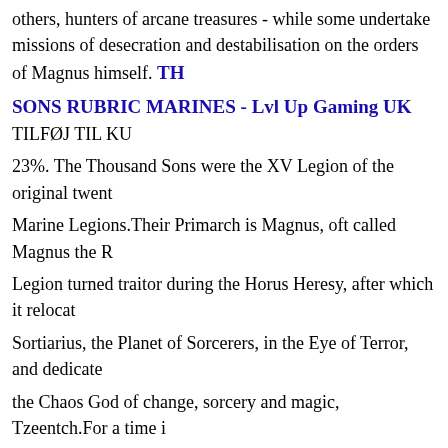others, hunters of arcane treasures - while some undertake missions of desecration and destabilisation on the orders of Magnus himself. THOUSAND SONS RUBRIC MARINES - Lvl Up Gaming UK TILFØJ TIL KU 23%. The Thousand Sons were the XV Legion of the original twenty Space Marine Legions.Their Primarch is Magnus, oft called Magnus the Red. The Legion turned traitor during the Horus Heresy, after which it relocated to Sortiarius, the Planet of Sorcerers, in the Eye of Terror, and dedicated to the Chaos God of change, sorcery and magic, Tzeentch.For a time it was that Tzeentch protected . In battle, a malevolent witch-light crackles in the eyes of these traitor Space Marines as they open fire on those they once called brothers. Thousand Sons Codex Review - 9th Edition Warhammer 40k ... : 4851839041668. The set also includes options for a soulreaper icon of flame and Aspiring Sorcerer upgrades. Thousand Sons Rubric Product Description This multi-part plastic kit contains all the parts to assemble 10 Rubric Marines, armed with either Inferno boltguns or warpflamers. GAMES WORKSHOP 99120102063" Thousand Sons Rubric Marines. Thương hiệu: Games Workshop | Loại: Warhammer 40.00 guerriers immortels furent pour certains d'authentiques psykers, ava antique malédiction les réduisent à l'état de coques vides - leur armu énergétique baroque ne contient plus que de la poussière . 7x Rubric inferno boltgun: 7x Inferno boltgun . på lager. The Thousand Sons (